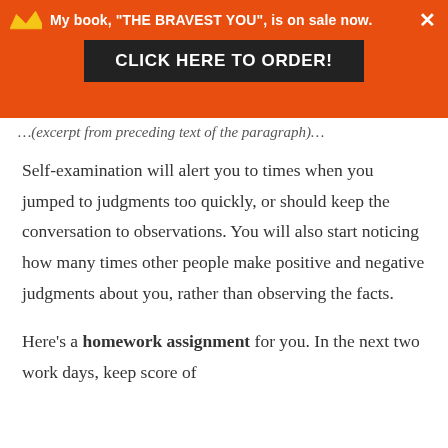My book, "THE BRAVEST YOU", is on sale now. CLICK HERE TO ORDER!
…(excerpt from preceding paragraph)…
Self-examination will alert you to times when you jumped to judgments too quickly, or should keep the conversation to observations. You will also start noticing how many times other people make positive and negative judgments about you, rather than observing the facts.
Here's a homework assignment for you. In the next two work days, keep score of…